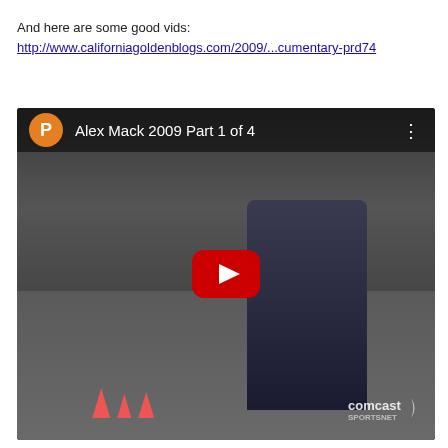And here are some good vids:
http://www.californiagoldenblogs.com/2009/...cumentary-prd74
[Figure (screenshot): YouTube video thumbnail with title 'Alex Mack 2009 Part 1 of 4', showing a man in a Cal (University of California) jacket in what appears to be a parking garage or indoor facility, with a YouTube play button overlay and Comcast SportsNet logo in the corner.]